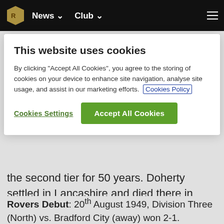News  Club
This website uses cookies
By clicking "Accept All Cookies", you agree to the storing of cookies on your device to enhance site navigation, analyse site usage, and assist in our marketing efforts. Cookies Policy
Cookies Settings  Accept All Cookies
the second tier for 50 years. Doherty settled in Lancashire and died there in 1990, aged 76. He was a great player, and probably Rovers' finest manager.
Rovers Debut: 20th August 1949, Division Three (North) vs. Bradford City (away) won 2-1.